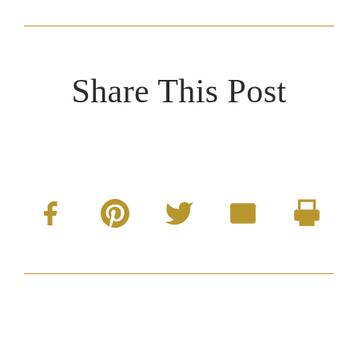Share This Post
[Figure (infographic): Five social sharing icons in gold: Facebook, Pinterest, Twitter, Email (envelope), Print (printer)]